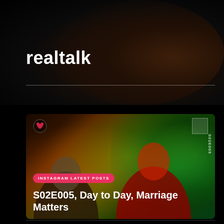realtalk
[Figure (photo): Podcast thumbnail showing two people (one in black t-shirt seated left, one in red t-shirt standing right) in front of colorful waveform background with rainbow/gradient lighting. Heart logo visible top-left. QR code top-right. Badge reading INSTAGRAM LATEST POSTS. Text overlay: S02E005, Day to Day, Marriage Matters. Vertical text S02E005 on right edge.]
S02E005, Day to Day, Marriage Matters